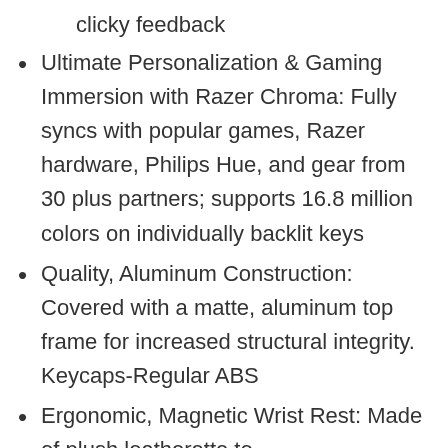clicky feedback
Ultimate Personalization & Gaming Immersion with Razer Chroma: Fully syncs with popular games, Razer hardware, Philips Hue, and gear from 30 plus partners; supports 16.8 million colors on individually backlit keys
Quality, Aluminum Construction: Covered with a matte, aluminum top frame for increased structural integrity. Keycaps-Regular ABS
Ergonomic, Magnetic Wrist Rest: Made of plush leatherette to